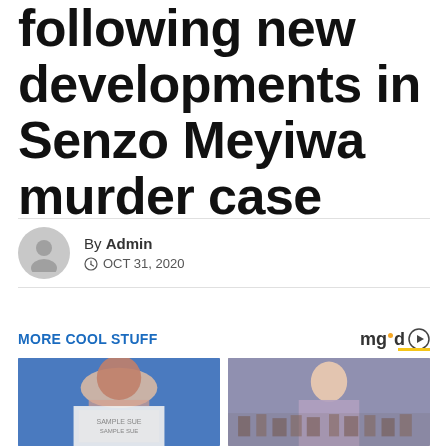following new developments in Senzo Meyiwa murder case
By Admin
© OCT 31, 2020
MORE COOL STUFF
[Figure (photo): Two thumbnail images: left shows a plus-size woman with tattoos in a white dress at an event; right shows a woman in a grey dress surrounded by a crowd]
mgid